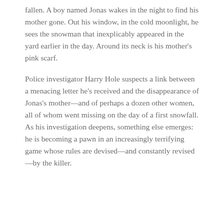fallen. A boy named Jonas wakes in the night to find his mother gone. Out his window, in the cold moonlight, he sees the snowman that inexplicably appeared in the yard earlier in the day. Around its neck is his mother's pink scarf.
Police investigator Harry Hole suspects a link between a menacing letter he's received and the disappearance of Jonas's mother—and of perhaps a dozen other women, all of whom went missing on the day of a first snowfall. As his investigation deepens, something else emerges: he is becoming a pawn in an increasingly terrifying game whose rules are devised—and constantly revised—by the killer.